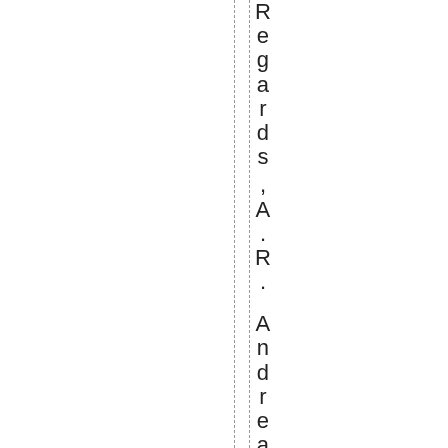Regards ,A .R .  AndreaRossi August